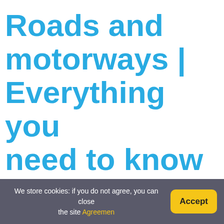Roads and motorways | Everything you need to know
Answer: A motorway just relates to the A road that it's n... A7, which runs from Carlisle to Edinburgh has no need f... the numbers were set up centred on London.
What is the highest speed limit in the wo...
The highest posted speed limit in the world is 160 km/h...
We store cookies: if you do not agree, you can close the site Agreement